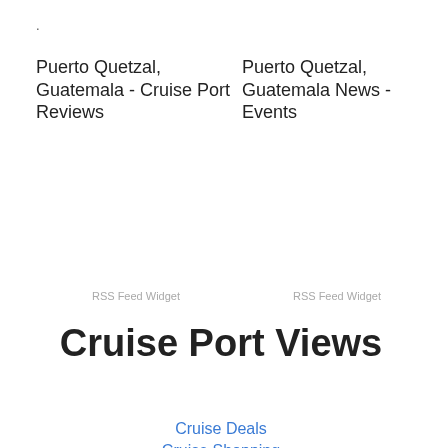.
Puerto Quetzal, Guatemala - Cruise Port Reviews
Puerto Quetzal, Guatemala News - Events
RSS Feed Widget
RSS Feed Widget
Cruise Port Views
Cruise Deals
Cruise Shopping